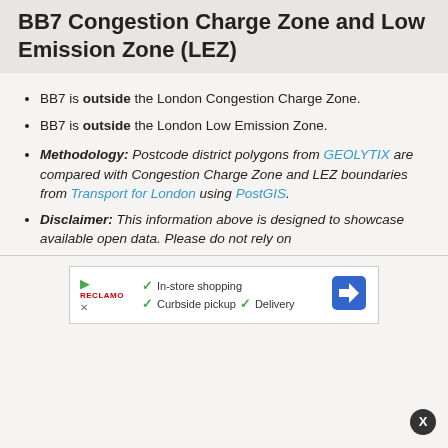BB7 Congestion Charge Zone and Low Emission Zone (LEZ)
BB7 is outside the London Congestion Charge Zone.
BB7 is outside the London Low Emission Zone.
Methodology: Postcode district polygons from GEOLYTIX are compared with Congestion Charge Zone and LEZ boundaries from Transport for London using PostGIS.
Disclaimer: This information above is designed to showcase available open data. Please do not rely on
[Figure (other): Advertisement banner showing store features: In-store shopping, Curbside pickup, Delivery with a navigation arrow icon]